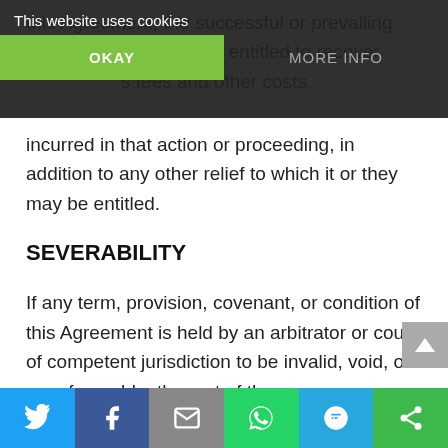This website uses cookies
this Agreement, the successful or prevailing party or parties shall be entitled to recover s fees and other costs incurred in that action or proceeding, in addition to any other relief to which it or they may be entitled.
SEVERABILITY
If any term, provision, covenant, or condition of this Agreement is held by an arbitrator or court of competent jurisdiction to be invalid, void, or unenforceable, the rest of the